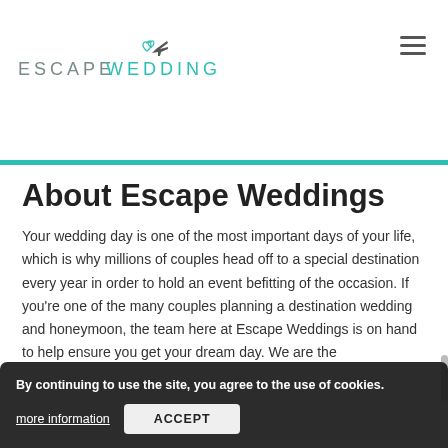ESCAPE WEDDINGS
About Escape Weddings
Your wedding day is one of the most important days of your life, which is why millions of couples head off to a special destination every year in order to hold an event befitting of the occasion. If you're one of the many couples planning a destination wedding and honeymoon, the team here at Escape Weddings is on hand to help ensure you get your dream day. We are the
By continuing to use the site, you agree to the use of cookies. more information  ACCEPT